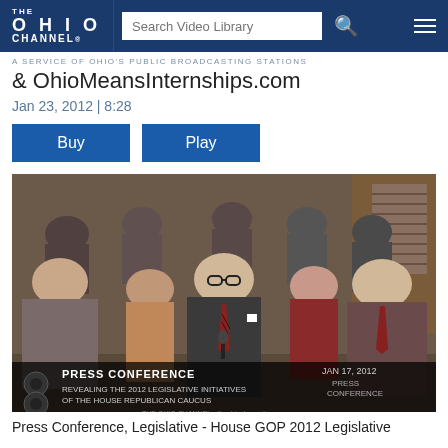THE OHIO CHANNEL — Search Video Library
A SERVICE OF OHIO'S PUBLIC BROADCASTING STATIONS
& OhioMeansInternships.com
Jan 23, 2012 | 8:28
Buy   Play
[Figure (photo): Press conference photo showing a group of people in formal attire. A man with glasses and a striped tie speaks at a podium. On-screen text reads: PRESS CONFERENCE — REVEALING THE 2012 LEGISLATIVE INITIATIVES OF THE HOUSE REPUBLICAN CAUCUS — JAN 17, 2012]
Press Conference, Legislative - House GOP 2012 Legislative